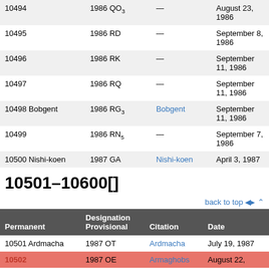| Permanent | Designation Provisional | Citation | Date |
| --- | --- | --- | --- |
| 10494 | 1986 QO₃ | — | August 23, 1986 |
| 10495 | 1986 RD | — | September 8, 1986 |
| 10496 | 1986 RK | — | September 11, 1986 |
| 10497 | 1986 RQ | — | September 11, 1986 |
| 10498 Bobgent | 1986 RG₃ | Bobgent | September 11, 1986 |
| 10499 | 1986 RN₅ | — | September 7, 1986 |
| 10500 Nishi-koen | 1987 GA | Nishi-koen | April 3, 1987 |
10501–10600[]
back to top ⌃
| Permanent | Designation Provisional | Citation | Date |
| --- | --- | --- | --- |
| 10501 Ardmacha | 1987 OT | Ardmacha | July 19, 1987 |
| 10502 | 1987 OE | Armaghobs | August 22, |